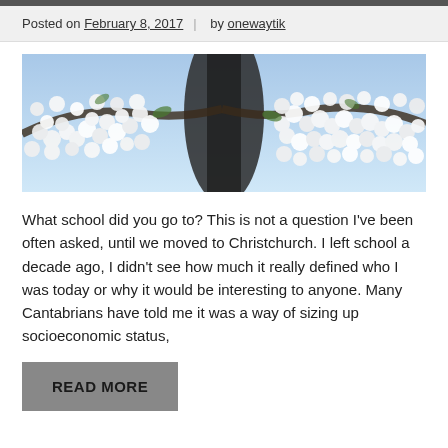Posted on February 8, 2017 | by onewaytik
[Figure (photo): Upward-looking photograph through branches covered in white blossoms against a blue sky]
What school did you go to? This is not a question I've been often asked, until we moved to Christchurch. I left school a decade ago, I didn't see how much it really defined who I was today or why it would be interesting to anyone. Many Cantabrians have told me it was a way of sizing up socioeconomic status,
READ MORE